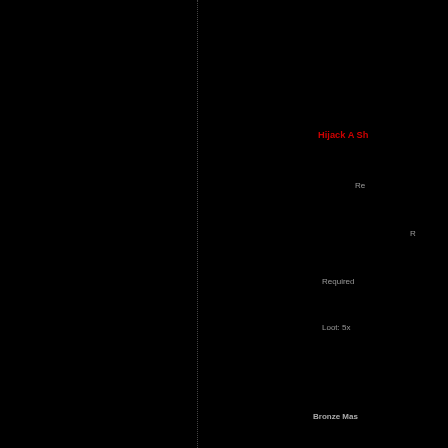Hijack A Sh
Re
R
Required
Loot: 5x
Bronze Mas